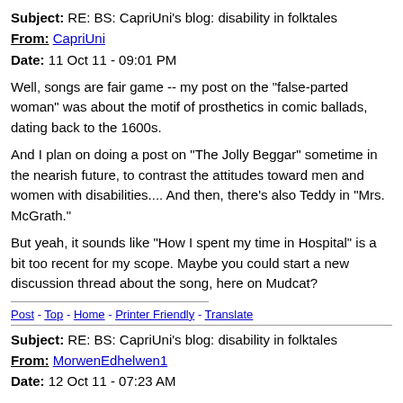Subject: RE: BS: CapriUni's blog: disability in folktales
From: CapriUni
Date: 11 Oct 11 - 09:01 PM
Well, songs are fair game -- my post on the "false-parted woman" was about the motif of prosthetics in comic ballads, dating back to the 1600s.
And I plan on doing a post on "The Jolly Beggar" sometime in the nearish future, to contrast the attitudes toward men and women with disabilities.... And then, there's also Teddy in "Mrs. McGrath."
But yeah, it sounds like "How I spent my time in Hospital" is a bit too recent for my scope. Maybe you could start a new discussion thread about the song, here on Mudcat?
Post - Top - Home - Printer Friendly - Translate
Subject: RE: BS: CapriUni's blog: disability in folktales
From: MorwenEdhelwen1
Date: 12 Oct 11 - 07:23 AM
I just remembered that the song is on a box set called "Calypso: